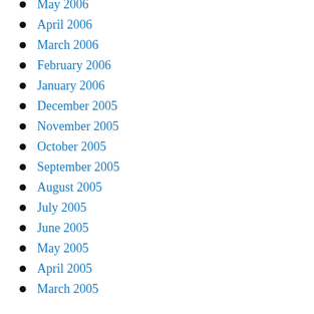May 2006
April 2006
March 2006
February 2006
January 2006
December 2005
November 2005
October 2005
September 2005
August 2005
July 2005
June 2005
May 2005
April 2005
March 2005